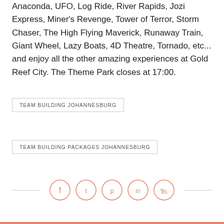Anaconda, UFO, Log Ride, River Rapids, Jozi Express, Miner's Revenge, Tower of Terror, Storm Chaser, The High Flying Maverick, Runaway Train, Giant Wheel, Lazy Boats, 4D Theatre, Tornado, etc... and enjoy all the other amazing experiences at Gold Reef City. The Theme Park closes at 17:00.
TEAM BUILDING JOHANNESBURG
TEAM BUILDING PACKAGES JOHANNESBURG
[Figure (infographic): Social media share icons row: Facebook, Twitter, Pinterest, LinkedIn, WhatsApp — each in a salmon/coral outlined circle, with horizontal divider lines on each side]